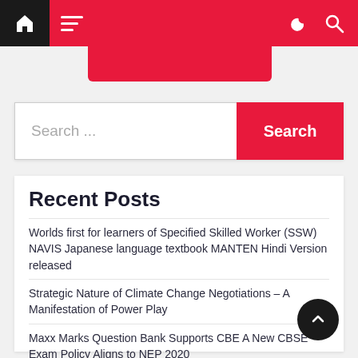Navigation bar with home, menu, dark mode, and search icons
[Figure (screenshot): Red dropdown menu stub below navigation bar]
Search ...
Worlds first for learners of Specified Skilled Worker (SSW) NAVIS Japanese language textbook MANTEN Hindi Version released
Strategic Nature of Climate Change Negotiations – A Manifestation of Power Play
Maxx Marks Question Bank Supports CBE A New CBSE Exam Policy Aligns to NEP 2020